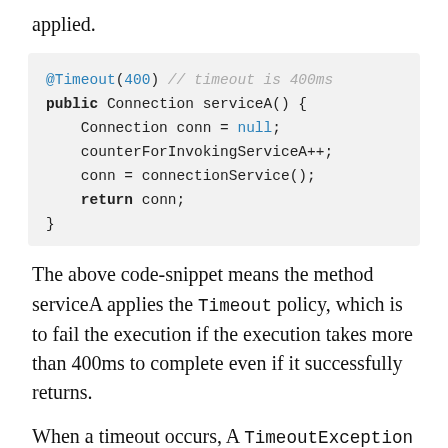applied.
[Figure (screenshot): Code snippet showing a Java method with @Timeout(400) annotation and a public Connection serviceA() method that initializes conn to null, increments counterForInvokingServiceA++, sets conn = connectionService(), and returns conn.]
The above code-snippet means the method serviceA applies the Timeout policy, which is to fail the execution if the execution takes more than 400ms to complete even if it successfully returns.
When a timeout occurs, A TimeoutException must be thrown. The @Timeout annotation can be used together with @Fallback, @CircuitBreaker, @Asynchronous, @Bulkhead